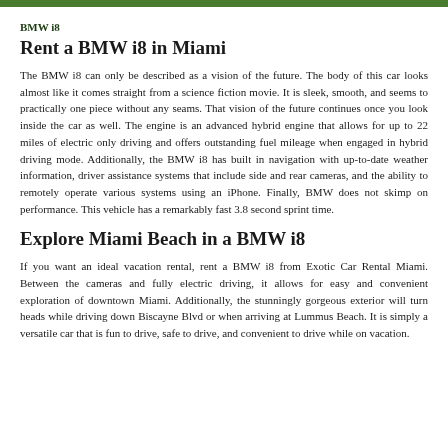BMW i8
Rent a BMW i8 in Miami
The BMW i8 can only be described as a vision of the future. The body of this car looks almost like it comes straight from a science fiction movie. It is sleek, smooth, and seems to practically one piece without any seams. That vision of the future continues once you look inside the car as well. The engine is an advanced hybrid engine that allows for up to 22 miles of electric only driving and offers outstanding fuel mileage when engaged in hybrid driving mode. Additionally, the BMW i8 has built in navigation with up-to-date weather information, driver assistance systems that include side and rear cameras, and the ability to remotely operate various systems using an iPhone. Finally, BMW does not skimp on performance. This vehicle has a remarkably fast 3.8 second sprint time.
Explore Miami Beach in a BMW i8
If you want an ideal vacation rental, rent a BMW i8 from Exotic Car Rental Miami. Between the cameras and fully electric driving, it allows for easy and convenient exploration of downtown Miami. Additionally, the stunningly gorgeous exterior will turn heads while driving down Biscayne Blvd or when arriving at Lummus Beach. It is simply a versatile car that is fun to drive, safe to drive, and convenient to drive while on vacation.